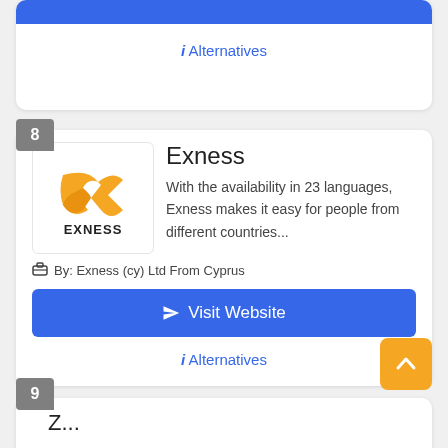i Alternatives
8
[Figure (logo): Exness broker logo with yellow stylized EX symbol and EXNESS text below]
Exness
With the availability in 23 languages, Exness makes it easy for people from different countries...
By: Exness (cy) Ltd From Cyprus
Visit Website
i Alternatives
9